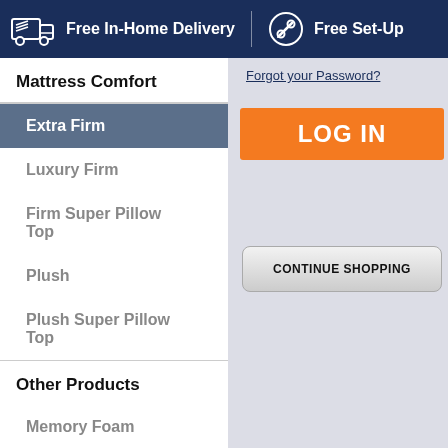Free In-Home Delivery | Free Set-Up
Mattress Comfort
Extra Firm
Luxury Firm
Firm Super Pillow Top
Plush
Plush Super Pillow Top
Other Products
Memory Foam
Adjustable Bases
King
Forgot your Password?
LOG IN
CONTINUE SHOPPING